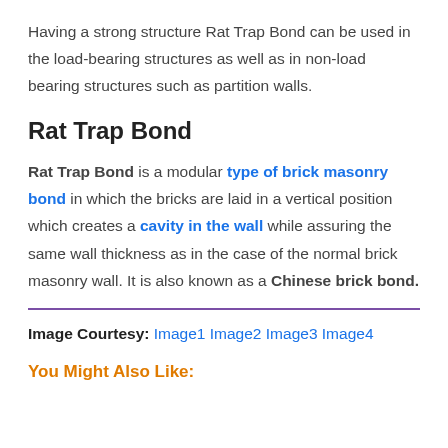Having a strong structure Rat Trap Bond can be used in the load-bearing structures as well as in non-load bearing structures such as partition walls.
Rat Trap Bond
Rat Trap Bond is a modular type of brick masonry bond in which the bricks are laid in a vertical position which creates a cavity in the wall while assuring the same wall thickness as in the case of the normal brick masonry wall. It is also known as a Chinese brick bond.
Image Courtesy: Image1 Image2 Image3 Image4
You Might Also Like: